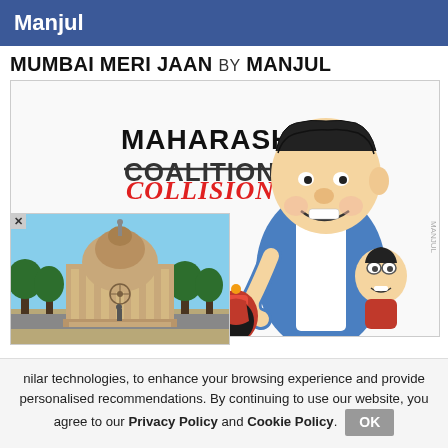Manjul
MUMBAI MERI JAAN BY MANJUL
[Figure (illustration): Political cartoon by Manjul titled 'Maharashtra Coalition... Collision...' showing caricatures of politicians. A large smiling politician in blue vest holds a smaller bespectacled figure. Text reads 'MAHARASHTRA COALITION...' with 'COLLISION' written in red overlapping. A small dark figure with a red bag appears at the bottom center.]
[Figure (photo): Photo of the Supreme Court of India building with dome, surrounded by trees and a road in front.]
nilar technologies, to enhance your browsing experience and provide personalised recommendations. By continuing to use our website, you agree to our Privacy Policy and Cookie Policy.